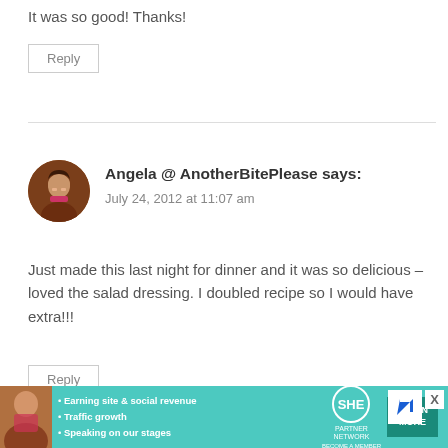It was so good! Thanks!
Reply
Angela @ AnotherBitePlease says: July 24, 2012 at 11:07 am
[Figure (photo): Circular avatar photo of Angela, a woman sitting at a dinner table]
Just made this last night for dinner and it was so delicious – loved the salad dressing. I doubled recipe so I would have extra!!!
Reply
[Figure (infographic): SHE Partner Network advertisement banner with bullet points: Earning site & social revenue, Traffic growth, Speaking on our stages. Includes LEARN MORE button.]